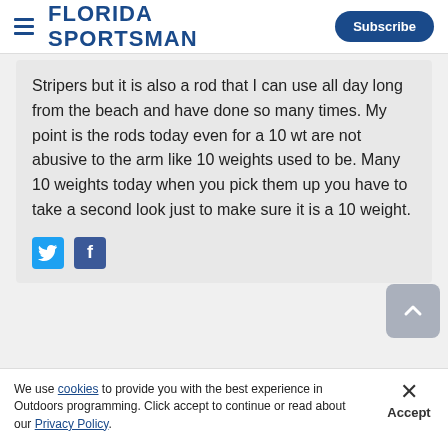FLORIDA SPORTSMAN | Subscribe
Stripers but it is also a rod that I can use all day long from the beach and have done so many times. My point is the rods today even for a 10 wt are not abusive to the arm like 10 weights used to be. Many 10 weights today when you pick them up you have to take a second look just to make sure it is a 10 weight.
We use cookies to provide you with the best experience in Outdoors programming. Click accept to continue or read about our Privacy Policy.